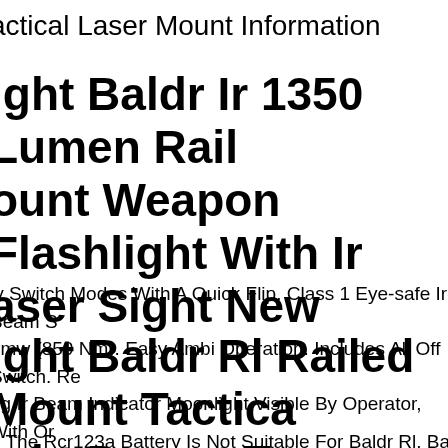actical Laser Mount Information
ight Baldr Ir 1350 Lumen Rail ount Weapon Flashlight With Ir aser Sight New
ly Switch Modes With A Quick Flip. Class 1 Eye-safe Ir Beam S omw (850 Nm). Easy Ambi Operation. Includes All Off Switch. Re ng Ir Beam Indicator Moonlight Visible By Operator, With Or hout Night Vision.
ight Baldr Rl Railed Mount Tactica ight Desert Tan Weapon Light Red aser Us
e The Rcr123a Battery Is Not Suitable For Baldr Rl. Baldr Rl